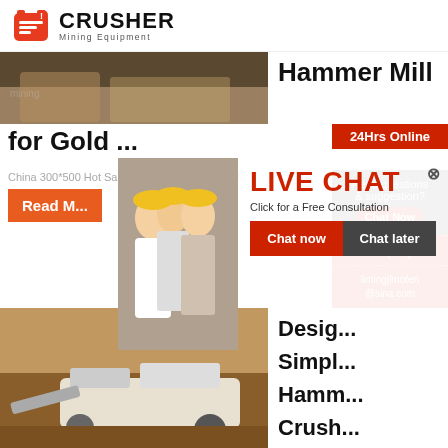[Figure (logo): Crusher Mining Equipment logo with red shopping bag icon and bold CRUSHER text]
[Figure (photo): Mining/stone crushing scene, top strip image]
Hammer Mill for Gold ...
China 300*500 Hot Sale Small Stone Hammer M...
Read M...
[Figure (screenshot): Live chat popup overlay with workers photo, LIVE CHAT heading, Click for a Free Consultation text, Chat now and Chat later buttons]
24Hrs Online
[Figure (photo): Mining machinery/crusher in excavation site]
Design Simple Hammer Crush Cone ...
Need questions & suggestion?
Chat Now
Enquiry
limingjlmofen@sina.com